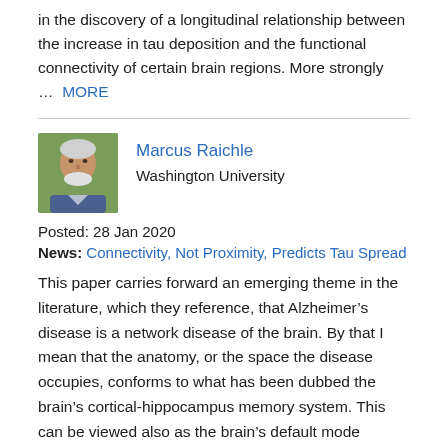in the discovery of a longitudinal relationship between the increase in tau deposition and the functional connectivity of certain brain regions. More strongly … MORE
Marcus Raichle
Washington University
Posted: 28 Jan 2020
News: Connectivity, Not Proximity, Predicts Tau Spread
This paper carries forward an emerging theme in the literature, which they reference, that Alzheimer's disease is a network disease of the brain. By that I mean that the anatomy, or the space the disease occupies, conforms to what has been dubbed the brain's cortical-hippocampus memory system. This can be viewed also as the brain's default mode network, with which the hippocampus has